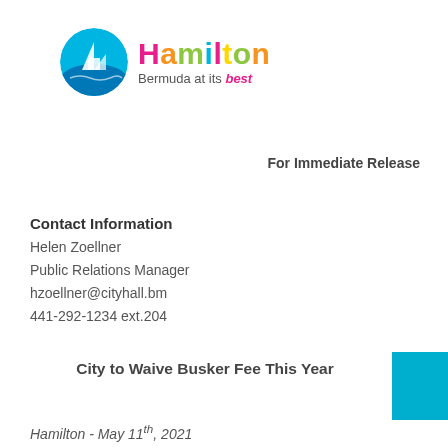[Figure (logo): Hamilton Bermuda at its best logo with circular icon and colorful text]
For Immediate Release
Contact Information
Helen Zoellner
Public Relations Manager
hzoellner@cityhall.bm
441-292-1234 ext.204
City to Waive Busker Fee This Year
Hamilton - May 11th, 2021